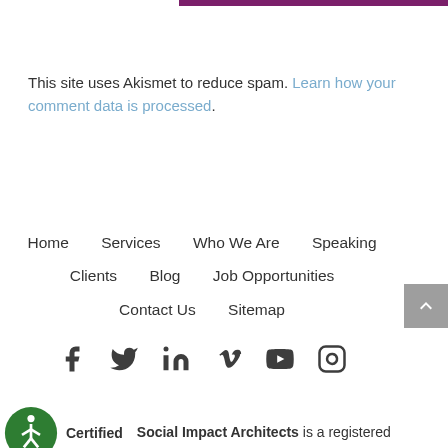[Figure (other): Purple decorative bar at top]
This site uses Akismet to reduce spam. Learn how your comment data is processed.
Home   Services   Who We Are   Speaking   Clients   Blog   Job Opportunities   Contact Us   Sitemap
[Figure (other): Social media icons: Facebook, Twitter, LinkedIn, Vimeo, YouTube, Instagram]
Certified   Social Impact Architects is a registered